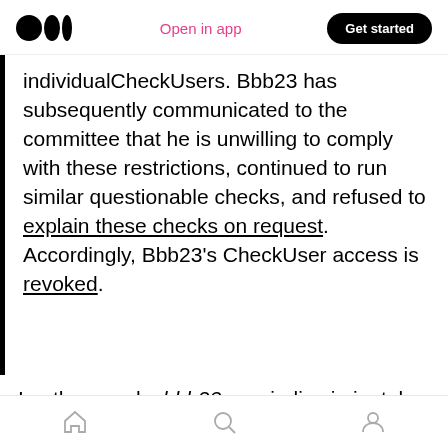Open in app | Get started
individualCheckUsers. Bbb23 has subsequently communicated to the committee that he is unwilling to comply with these restrictions, continued to run similar questionable checks, and refused to explain these checks on request. Accordingly, Bbb23's CheckUser access is revoked.
In other words, bbb23 was indiscriminately violating the law and Wikimedia's own policies. When asked to stop and justify his behaviour, he refused. He received a verbal slap on the wrist and had his extra powers removed. At this
Home | Search | Profile